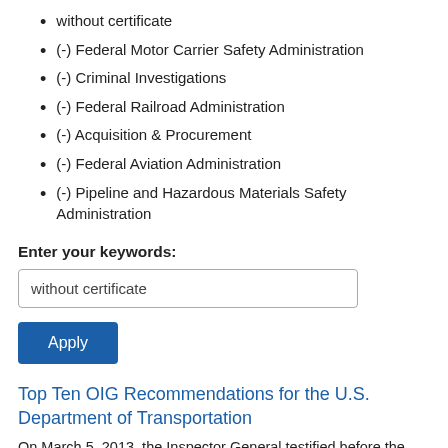without certificate
(-) Federal Motor Carrier Safety Administration
(-) Criminal Investigations
(-) Federal Railroad Administration
(-) Acquisition & Procurement
(-) Federal Aviation Administration
(-) Pipeline and Hazardous Materials Safety Administration
Enter your keywords:
without certificate
Apply
Top Ten OIG Recommendations for the U.S. Department of Transportation
On March 5, 2013, the Inspector General testified before the House Committee on…